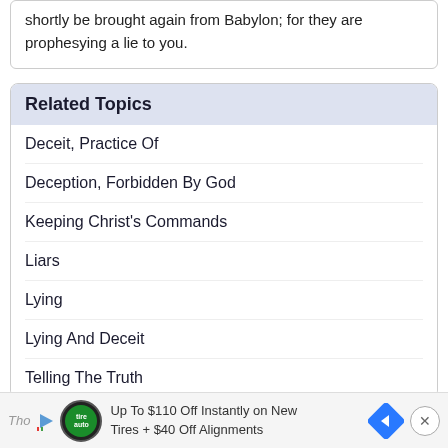shortly be brought again from Babylon; for they are prophesying a lie to you.
Related Topics
Deceit, Practice Of
Deception, Forbidden By God
Keeping Christ's Commands
Liars
Lying
Lying And Deceit
Telling The Truth
Up To $110 Off Instantly on New Tires + $40 Off Alignments